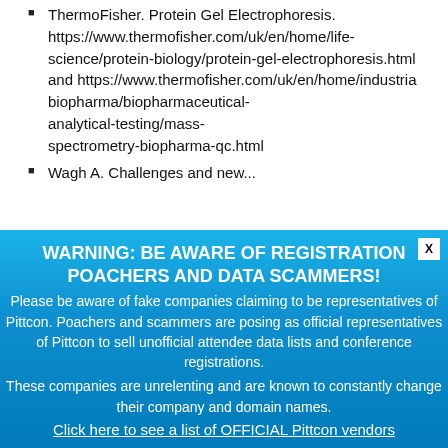ThermoFisher. Protein Gel Electrophoresis. https://www.thermofisher.com/uk/en/home/life-science/protein-biology/protein-gel-electrophoresis.html and https://www.thermofisher.com/uk/en/home/industrial/biopharma/biopharmaceutical-analytical-testing/mass-spectrometry-biopharma-qc.html
Wagh A. Challenges and new...
WARNING: BE AWARE OF REGISTRATION POACHERS AND DATA SCAMMERS! Please be aware of fake companies claiming to be representatives of Pittcon. Poachers and scammers are posing as official representatives of Pittcon to sell unofficial attendee data lists and conference registrations. These companies are unrelenting and are known to constantly change their company and domain names. Click here to see a list of OFFICIAL Pittcon vendors